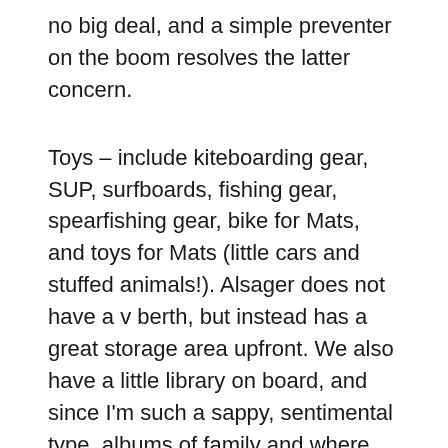no big deal, and a simple preventer on the boom resolves the latter concern.
Toys – include kiteboarding gear, SUP, surfboards, fishing gear, spearfishing gear, bike for Mats, and toys for Mats (little cars and stuffed animals!). Alsager does not have a v berth, but instead has a great storage area upfront. We also have a little library on board, and since I'm such a sappy, sentimental type, albums of family and where we come from, along with many things I've had since I was a